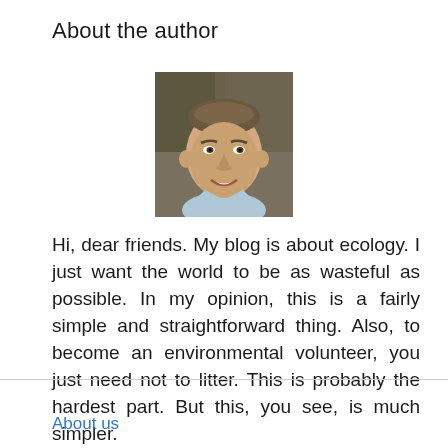About the author
[Figure (photo): Headshot of the blog author: a bald/short-haired man smiling, outdoor background with blurred foliage]
Hi, dear friends. My blog is about ecology. I just want the world to be as wasteful as possible. In my opinion, this is a fairly simple and straightforward thing. Also, to become an environmental volunteer, you just need not to litter. This is probably the hardest part. But this, you see, is much simpler.
About us